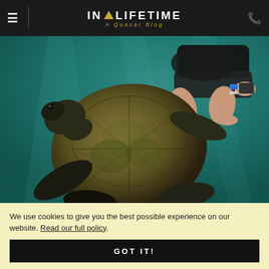IN A LIFETIME — A Quasar Blog
[Figure (photo): Underwater photo of a large sea turtle swimming with a snorkeler directly behind it. The water is teal/turquoise green. The turtle has a large mossy shell and dark flippers. The snorkeler wears dark shorts and a blue wristband and appears to be holding a camera.]
We use cookies to give you the best possible experience on our website. Read our full policy.
GOT IT!